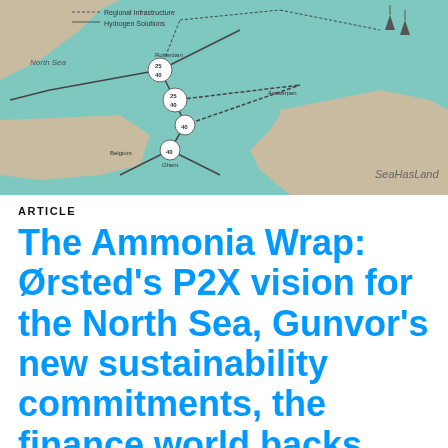[Figure (map): A map showing the Netherlands and surrounding North Sea region with hydrogen pipeline infrastructure, offshore wind locations, and interconnections to Belgium and Germany. Shows nodes labeled with numbers (25, 40, etc.) connected by lines. SeaHasLand watermark visible. Legend shows Regional Infrastructure and Hydrogen Solutions lines.]
ARTICLE
The Ammonia Wrap: Ørsted's P2X vision for the North Sea, Gunvor's new sustainability commitments, the finance world backs green hydrogen and Hydrofuel-Ontario Tech's new